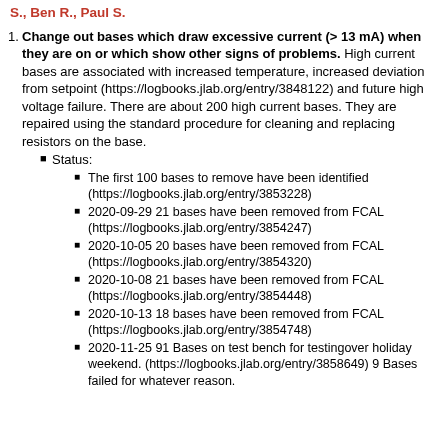... with apparatus: Chris S., With S., Jonathan D., John S., Ben R., Paul S.
Change out bases which draw excessive current (> 13 mA) when they are on or which show other signs of problems. High current bases are associated with increased temperature, increased deviation from setpoint (https://logbooks.jlab.org/entry/3848122) and future high voltage failure. There are about 200 high current bases. They are repaired using the standard procedure for cleaning and replacing resistors on the base.
Status:
The first 100 bases to remove have been identified (https://logbooks.jlab.org/entry/3853228)
2020-09-29 21 bases have been removed from FCAL (https://logbooks.jlab.org/entry/3854247)
2020-10-05 20 bases have been removed from FCAL (https://logbooks.jlab.org/entry/3854320)
2020-10-08 21 bases have been removed from FCAL (https://logbooks.jlab.org/entry/3854448)
2020-10-13 18 bases have been removed from FCAL (https://logbooks.jlab.org/entry/3854748)
2020-11-25 91 Bases on test bench for testingover holiday weekend. (https://logbooks.jlab.org/entry/3858649) 9 Bases failed for whatever reason.